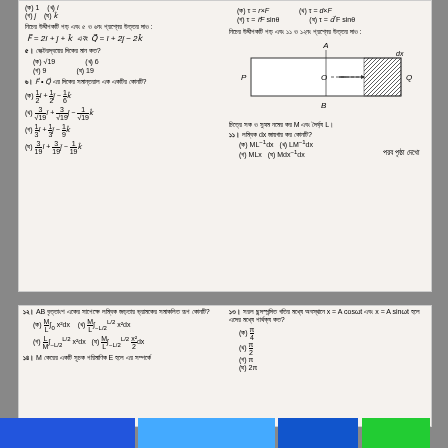(ক) 1  (খ) i  (গ) j  (ঘ) k
নিচের উদ্দীপকটি পড় এবং ৫ ও ৬নং প্রশ্নের উত্তর দাও :
৫। ভেক্টরদ্বয়ের দিকের মান কত?
(ক) √19  (খ) 6  (গ) 9  (ঘ) 19
৬। F·Q এর দিকের সমান্তরাল এক একটির কোনটি?
(ক) 1/2 i + 1/2 j - 1/6 k
(খ) 3/√19 i + 3/√19 j - 1/√19 k
(গ) 1/3 i + 1/3 j - 1/9 k
(ঘ) 3/19 i + 3/19 j - 1/19 k
(ক) τ = r×F  (খ) τ = d×F
(গ) τ = r⃗F sinθ  (ঘ) τ = d⃗F sinθ
নিচের উদ্দীপকটি পড় এবং ১১ ও ১২নং প্রশ্নের উত্তর দাও :
[Figure (engineering-diagram): Rectangle with points P, Q on sides, A on top, B on bottom, O center, dx marked with arrow]
চিত্রে সক ও সুষম নমের কর M এবং দৈর্ঘ্য L।
১১। লম্বিক dx জায়গার কর কোনটি?
(ক) ML⁻¹dx  (খ) LM⁻¹dx  (গ) MLx  (ঘ) Mdx⁻¹dx
পরব পৃষ্ঠা দেখো
১২। AB বৃত্তাংশ একের সাপেক্ষে লম্বিক জড়তার ভ্রামকের সমাকলিত রূপ কোনটি?
(ক) M/L ∫₀ x²dx  (খ) M/L ∫₋L/2^(L/2) x²dx
(গ) L/M ∫₋L/2^(L/2) x²dx  (ঘ) M/L ∫₋L/2^(L/2) x²/2 dx
১৩। সরল ছন্দস্পন্দিত গতির মধ্যে অবস্থানে x = A cosωt এবং x = A sinωt হলে এদের মধ্যে পার্থক্য কত?
(ক) π/4  (খ) π/2  (গ) π  (ঘ) 2π
১৪। M কেরের একটি সূচক পরিমাণিক E হলে এর সম্পর্কে